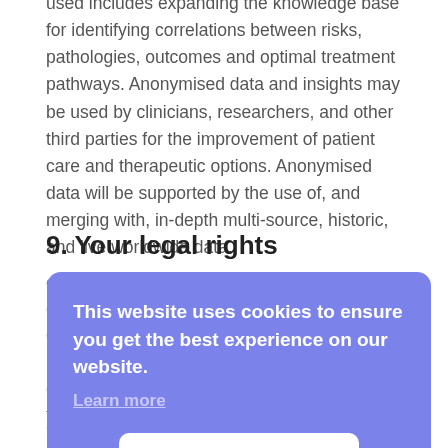used includes expanding the knowledge base for identifying correlations between risks, pathologies, outcomes and optimal treatment pathways. Anonymised data and insights may be used by clinicians, researchers, and other third parties for the improvement of patient care and therapeutic options. Anonymised data will be supported by the use of, and merging with, in-depth multi-source, historic, and live worldwide data.
9. Your legal rights
[Figure (screenshot): Cookie consent banner overlay with purple/lavender background. Text reads: 'This website uses cookies to ensure you get the best experience on our website.' with a 'Learn more' link and a white 'Got it' button.]
Request access to your personal data